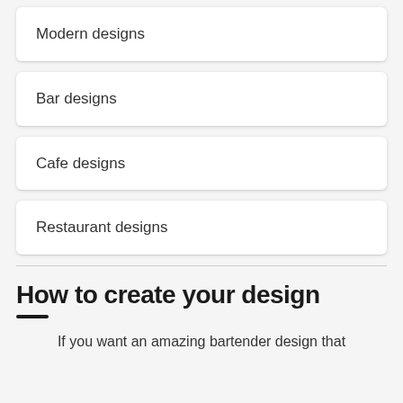Modern designs
Bar designs
Cafe designs
Restaurant designs
How to create your design
If you want an amazing bartender design that